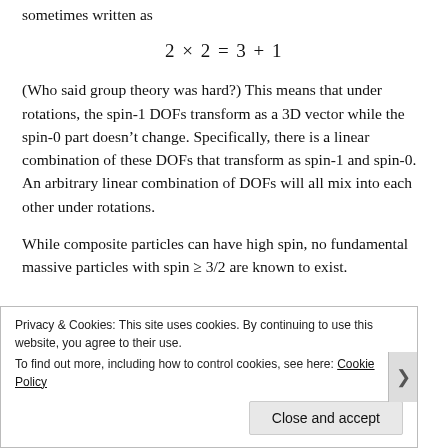sometimes written as
(Who said group theory was hard?) This means that under rotations, the spin-1 DOFs transform as a 3D vector while the spin-0 part doesn't change. Specifically, there is a linear combination of these DOFs that transform as spin-1 and spin-0. An arbitrary linear combination of DOFs will all mix into each other under rotations.
While composite particles can have high spin, no fundamental massive particles with spin ≥ 3/2 are known to exist.
Privacy & Cookies: This site uses cookies. By continuing to use this website, you agree to their use.
To find out more, including how to control cookies, see here: Cookie Policy